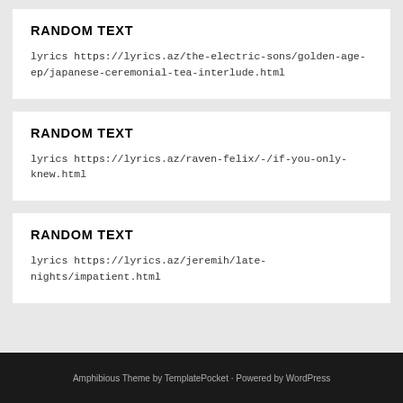RANDOM TEXT
lyrics https://lyrics.az/the-electric-sons/golden-age-ep/japanese-ceremonial-tea-interlude.html
RANDOM TEXT
lyrics https://lyrics.az/raven-felix/-/if-you-only-knew.html
RANDOM TEXT
lyrics https://lyrics.az/jeremih/late-nights/impatient.html
Amphibious Theme by TemplatePocket · Powered by WordPress